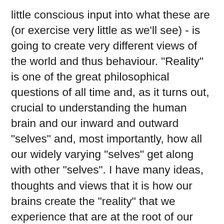little conscious input into what these are (or exercise very little as we'll see) - is going to create very different views of the world and thus behaviour. "Reality" is one of the great philosophical questions of all time and, as it turns out, crucial to understanding the human brain and our inward and outward "selves" and, most importantly, how all our widely varying "selves" get along with other "selves". I have many ideas, thoughts and views that it is how our brains create the "reality" that we experience that are at the root of our mental health woes. And not only that, but it may be that there's nothing really wrong with our version of reality, per se, but that it doesn't fit in with standardized models of "reality" and it is this ostracizing that creates our mental anguish.
A huge thing to understand is that all these components we've looked at run a mind boggling number of subconscious "programs", or what many in